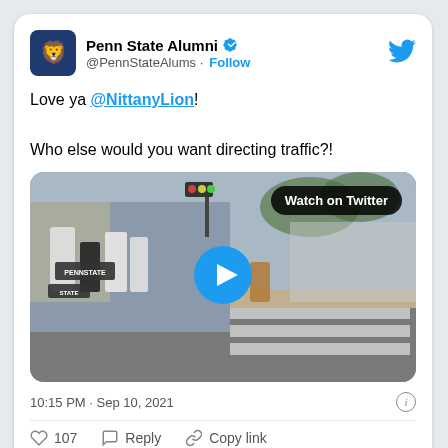Penn State Alumni @PennStateAlums · Follow
Love ya @NittanyLion!

Who else would you want directing traffic?!
[Figure (screenshot): Video thumbnail showing Penn State cheerleaders at a parade/street event with a play button overlay and 'Watch on Twitter' badge]
10:15 PM · Sep 10, 2021
107   Reply   Copy link
Explore what's happening on Twitter